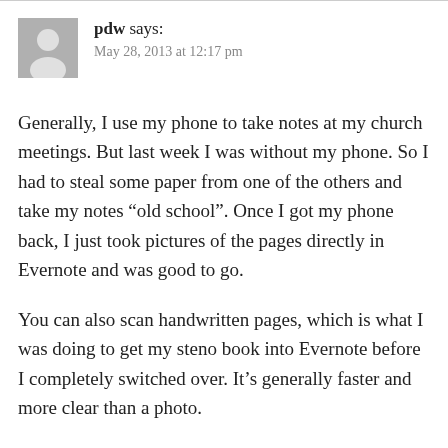[Figure (illustration): Gray avatar placeholder with white silhouette of a person]
pdw says: May 28, 2013 at 12:17 pm
Generally, I use my phone to take notes at my church meetings. But last week I was without my phone. So I had to steal some paper from one of the others and take my notes “old school”. Once I got my phone back, I just took pictures of the pages directly in Evernote and was good to go.
You can also scan handwritten pages, which is what I was doing to get my steno book into Evernote before I completely switched over. It’s generally faster and more clear than a photo.